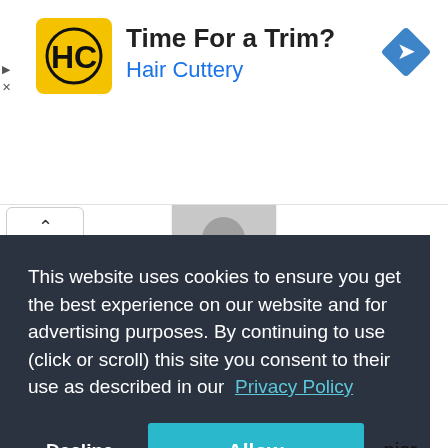[Figure (screenshot): Advertisement banner for Hair Cuttery with yellow logo showing 'HC', title 'Time For a Trim?', brand name 'Hair Cuttery' in blue, and a blue navigation diamond icon on the right.]
[Figure (screenshot): Partial webpage showing a collapse button with chevron up, a placeholder avatar silhouette image, and partial bold text 'OAPAC - Ontario Association of Professional' with 'nior' visible on right edge.]
This website uses cookies to ensure you get the best experience on our website and for advertising purposes. By continuing to use (click or scroll) this site you consent to their use as described in our Privacy Policy
Decline
Allow